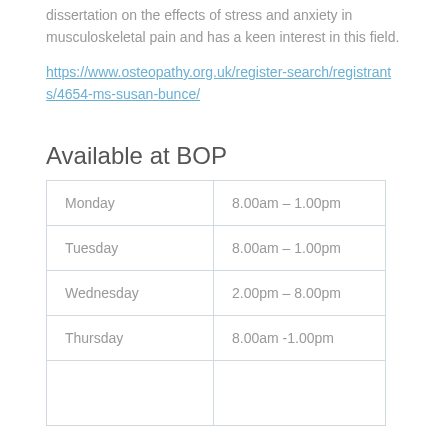dissertation on the effects of stress and anxiety in musculoskeletal pain and has a keen interest in this field.
https://www.osteopathy.org.uk/register-search/registrants/4654-ms-susan-bunce/
Available at BOP
| Day | Hours |
| --- | --- |
| Monday | 8.00am – 1.00pm |
| Tuesday | 8.00am – 1.00pm |
| Wednesday | 2.00pm – 8.00pm |
| Thursday | 8.00am -1.00pm |
|  |  |